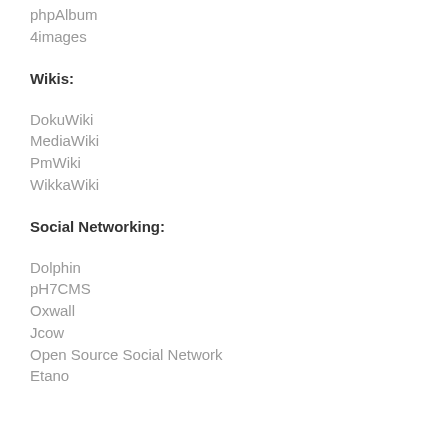phpAlbum
4images
Wikis:
DokuWiki
MediaWiki
PmWiki
WikkaWiki
Social Networking:
Dolphin
pH7CMS
Oxwall
Jcow
Open Source Social Network
Etano